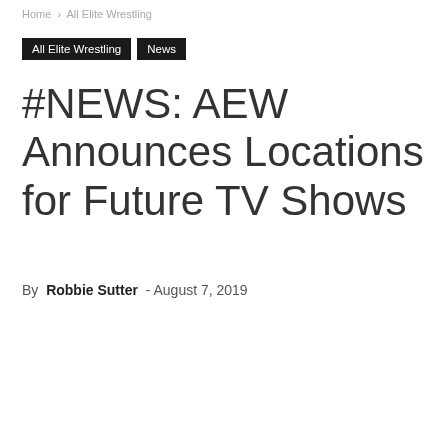Home › All Elite Wrestling
All Elite Wrestling | News
#NEWS: AEW Announces Locations for Future TV Shows
By Robbie Sutter - August 7, 2019